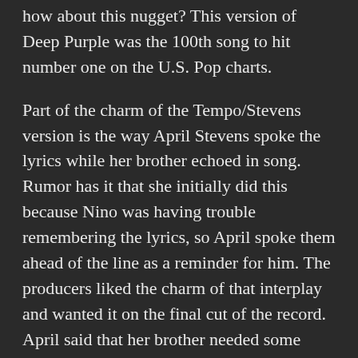how about this nugget? This version of Deep Purple was the 100th song to hit number one on the U.S. Pop charts.
Part of the charm of the Tempo/Stevens version is the way April Stevens spoke the lyrics while her brother echoed in song. Rumor has it that she initially did this because Nino was having trouble remembering the lyrics, so April spoke them ahead of the line as a reminder for him. The producers liked the charm of that interplay and wanted it on the final cut of the record. April said that her brother needed some convincing because “he didn’t want anyone talking while he was singing.”
Donny and Marie revived the song in 1975, with their version peaking at #14 on the Billboard Hot 100. This cover by Donny & Marie was on the charts for 23 weeks, longer than any other song by